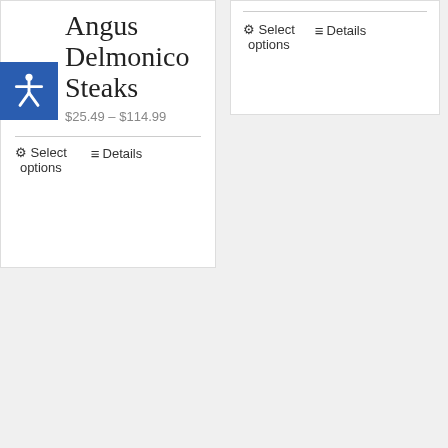Angus Delmonico Steaks
$25.49 – $114.99
Select options
Details
Select options
Details
[Figure (photo): Raw Angus steak cut on paper with Reserve badge]
[Figure (photo): Grilled burger with toppings with Reserve badge]